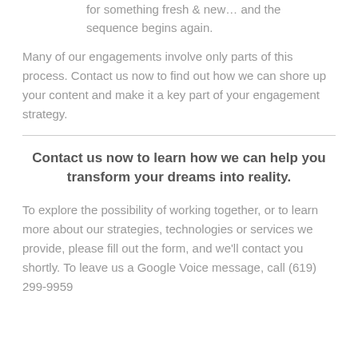for something fresh & new… and the sequence begins again.
Many of our engagements involve only parts of this process. Contact us now to find out how we can shore up your content and make it a key part of your engagement strategy.
Contact us now to learn how we can help you transform your dreams into reality.
To explore the possibility of working together, or to learn more about our strategies, technologies or services we provide, please fill out the form, and we'll contact you shortly. To leave us a Google Voice message, call (619) 299-9959